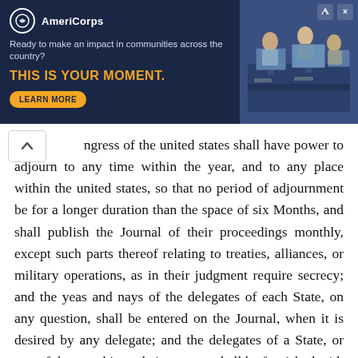[Figure (other): AmeriCorps advertisement banner with dark navy background, logo, tagline 'Ready to make an impact in communities across the country?', headline 'THIS IS YOUR MOMENT.', a 'LEARN MORE' button, and a photo of people at computers on the right side.]
ngress of the united states shall have power to adjourn to any time within the year, and to any place within the united states, so that no period of adjournment be for a longer duration than the space of six Months, and shall publish the Journal of their proceedings monthly, except such parts thereof relating to treaties, alliances, or military operations, as in their judgment require secrecy; and the yeas and nays of the delegates of each State, on any question, shall be entered on the Journal, when it is desired by any delegate; and the delegates of a State, or any of them, at his or their request, shall be furnished with a transcript of the said Journal, except such parts as are above excepted, to lay before the legislatures of the several states.
Article X. The committee of the states, or any nine of them, shall be authorized to execute, in the recess of congress, such of the powers of congress as the united states, in congress assembled, by the consent of nine states, shall, from time to time, think expedient to vest them with; provided that no power be delegated to the said committee, for the exercise of which, by the